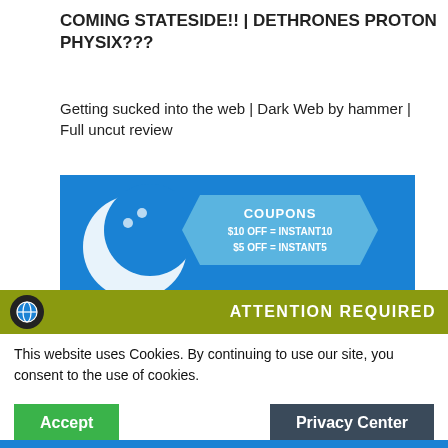COMING STATESIDE!! | DETHRONES PROTON PHYSIX???
Getting sucked into the web | Dark Web by hammer | Full uncut review
[Figure (screenshot): Bowling.com advertisement banner with white bowling ball icon, hexagonal coupon badge showing 'COUPONS $10 OFF = INSTANT10 $5 OFF = INSTANT5', and BOWLING.COM text in white on blue background]
ATTENTION REQUIRED
This website uses Cookies. By continuing to use our site, you consent to the use of cookies.
Accept
Privacy Center